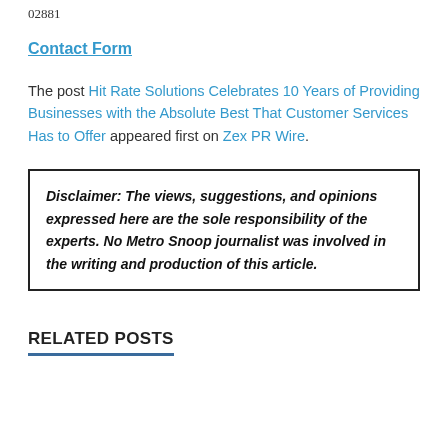02881
Contact Form
The post Hit Rate Solutions Celebrates 10 Years of Providing Businesses with the Absolute Best That Customer Services Has to Offer appeared first on Zex PR Wire.
Disclaimer: The views, suggestions, and opinions expressed here are the sole responsibility of the experts. No Metro Snoop journalist was involved in the writing and production of this article.
RELATED POSTS